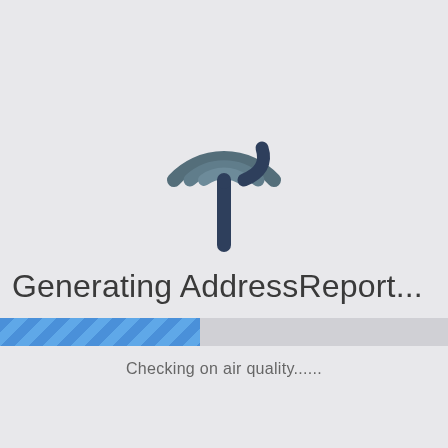[Figure (logo): A stylized radio/signal tower icon consisting of concentric arcs forming a half-circle on top and a vertical stem with a small circular node, rendered in dark steel blue/slate color]
Generating AddressReport...
[Figure (infographic): A horizontal progress bar partially filled with a diagonal striped blue pattern, approximately 45% filled]
Checking on air quality......